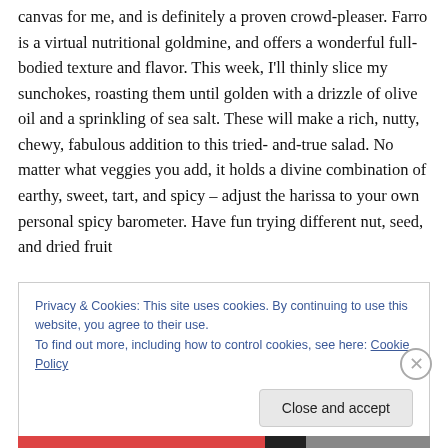canvas for me, and is definitely a proven crowd-pleaser. Farro is a virtual nutritional goldmine, and offers a wonderful full-bodied texture and flavor. This week, I'll thinly slice my sunchokes, roasting them until golden with a drizzle of olive oil and a sprinkling of sea salt. These will make a rich, nutty, chewy, fabulous addition to this tried-and-true salad. No matter what veggies you add, it holds a divine combination of earthy, sweet, tart, and spicy – adjust the harissa to your own personal spicy barometer. Have fun trying different nut, seed, and dried fruit
Privacy & Cookies: This site uses cookies. By continuing to use this website, you agree to their use.
To find out more, including how to control cookies, see here: Cookie Policy